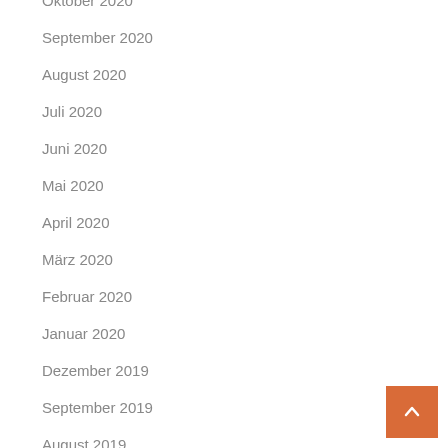Oktober 2020
September 2020
August 2020
Juli 2020
Juni 2020
Mai 2020
April 2020
März 2020
Februar 2020
Januar 2020
Dezember 2019
September 2019
August 2019
Juli 2019
Juni 2019
November 2016